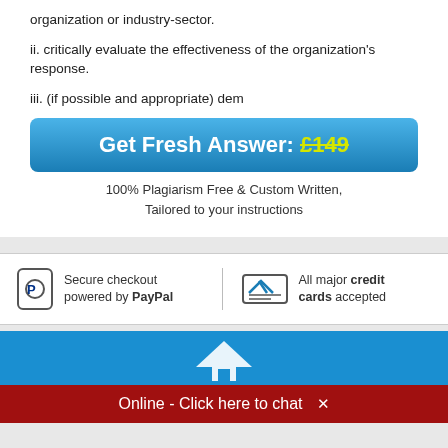organization or industry-sector.
ii. critically evaluate the effectiveness of the organization's response.
iii. (if possible and appropriate) dem
Get Fresh Answer: £149
100% Plagiarism Free & Custom Written,
Tailored to your instructions
Secure checkout powered by PayPal
All major credit cards accepted
Online - Click here to chat ×